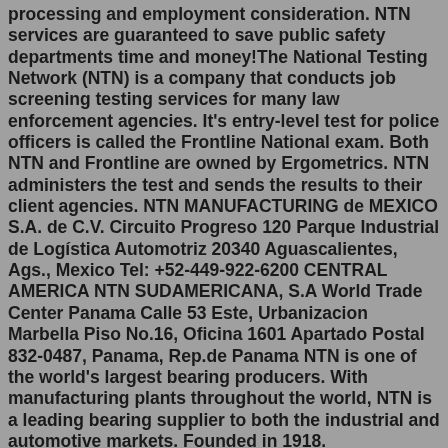processing and employment consideration. NTN services are guaranteed to save public safety departments time and money!The National Testing Network (NTN) is a company that conducts job screening testing services for many law enforcement agencies. It's entry-level test for police officers is called the Frontline National exam. Both NTN and Frontline are owned by Ergometrics. NTN administers the test and sends the results to their client agencies. NTN MANUFACTURING de MEXICO S.A. de C.V. Circuito Progreso 120 Parque Industrial de Logística Automotriz 20340 Aguascalientes, Ags., Mexico Tel: +52-449-922-6200 CENTRAL AMERICA NTN SUDAMERICANA, S.A World Trade Center Panama Calle 53 Este, Urbanizacion Marbella Piso No.16, Oficina 1601 Apartado Postal 832-0487, Panama, Rep.de Panama NTN is one of the world's largest bearing producers. With manufacturing plants throughout the world, NTN is a leading bearing supplier to both the industrial and automotive markets. Founded in 1918.